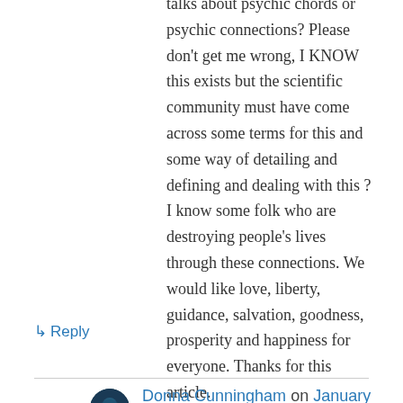talks about psychic chords or psychic connections? Please don't get me wrong, I KNOW this exists but the scientific community must have come across some terms for this and some way of detailing and defining and dealing with this ?

I know some folk who are destroying people's lives through these connections. We would like love, liberty, guidance, salvation, goodness, prosperity and happiness for everyone. Thanks for this article.
↳ Reply
Donna Cunningham on January 29, 2013 at 3:06 pm